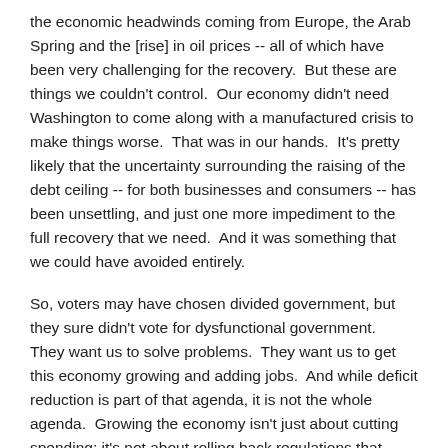the economic headwinds coming from Europe, the Arab Spring and the [rise] in oil prices -- all of which have been very challenging for the recovery.  But these are things we couldn't control.  Our economy didn't need Washington to come along with a manufactured crisis to make things worse.  That was in our hands.  It's pretty likely that the uncertainty surrounding the raising of the debt ceiling -- for both businesses and consumers -- has been unsettling, and just one more impediment to the full recovery that we need.  And it was something that we could have avoided entirely.
So, voters may have chosen divided government, but they sure didn't vote for dysfunctional government.  They want us to solve problems.  They want us to get this economy growing and adding jobs.  And while deficit reduction is part of that agenda, it is not the whole agenda.  Growing the economy isn't just about cutting spending; it's not about rolling back regulations that protect our air and our water and keep our people safe.  That's not how we're going to get past this